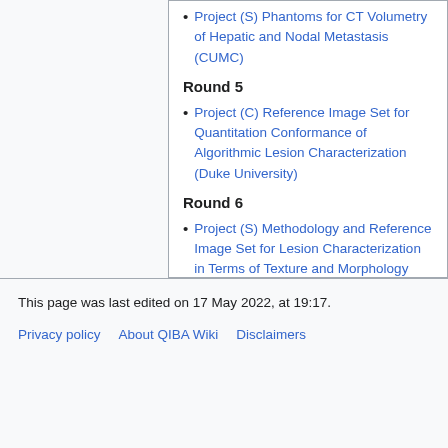Project (S) Phantoms for CT Volumetry of Hepatic and Nodal Metastasis (CUMC)
Round 5
Project (C) Reference Image Set for Quantitation Conformance of Algorithmic Lesion Characterization (Duke University)
Round 6
Project (S) Methodology and Reference Image Set for Lesion Characterization in Terms of Texture and Morphology (Duke University)
This page was last edited on 17 May 2022, at 19:17.
Privacy policy   About QIBA Wiki   Disclaimers